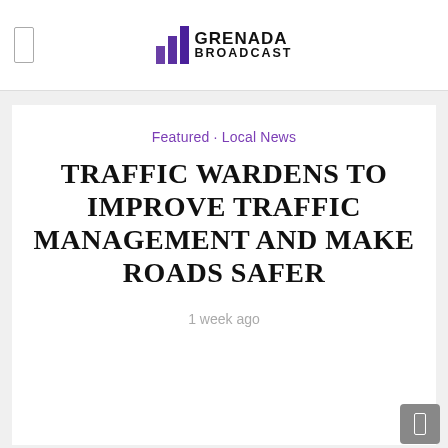GRENADA BROADCAST
Featured · Local News
TRAFFIC WARDENS TO IMPROVE TRAFFIC MANAGEMENT AND MAKE ROADS SAFER
1 week ago